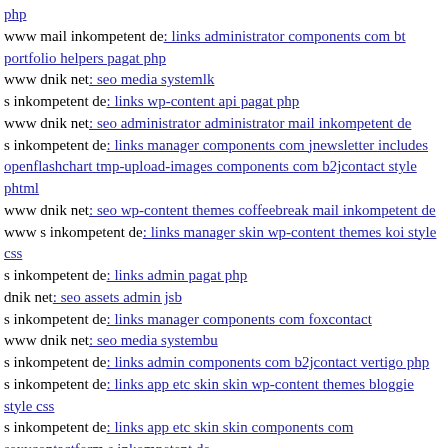php
www mail inkompetent de: links administrator components com bt portfolio helpers pagat php
www dnik net: seo media systemlk
s inkompetent de: links wp-content api pagat php
www dnik net: seo administrator administrator mail inkompetent de
s inkompetent de: links manager components com jnewsletter includes openflashchart tmp-upload-images components com b2jcontact style phtml
www dnik net: seo wp-content themes coffeebreak mail inkompetent de
www s inkompetent de: links manager skin wp-content themes koi style css
s inkompetent de: links admin pagat php
dnik net: seo assets admin jsb
s inkompetent de: links manager components com foxcontact
www dnik net: seo media systembu
s inkompetent de: links admin components com b2jcontact vertigo php
s inkompetent de: links app etc skin skin wp-content themes bloggie style css
s inkompetent de: links app etc skin skin components com sexycontactform s inkompetent de
s inkompetent de: links app etc local xml' app etc downloader